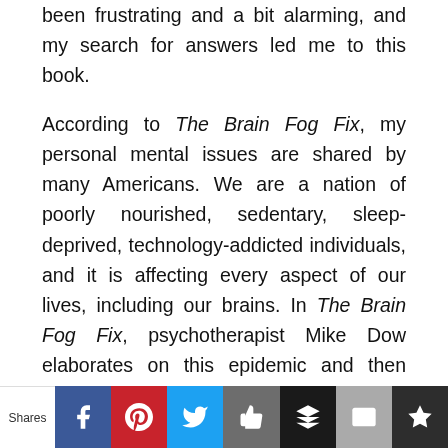been frustrating and a bit alarming, and my search for answers led me to this book.

According to The Brain Fog Fix, my personal mental issues are shared by many Americans. We are a nation of poorly nourished, sedentary, sleep-deprived, technology-addicted individuals, and it is affecting every aspect of our lives, including our brains. In The Brain Fog Fix, psychotherapist Mike Dow elaborates on this epidemic and then offers his prescription for healing our brains by naturally restoring our serotonin, dopamine, and cortisol levels. His solutions are
[Figure (infographic): Social media sharing bar with icons for Facebook, Pinterest, Twitter, Like, Buffer, Email, and an additional share button. A 'Shares' label appears on the left.]